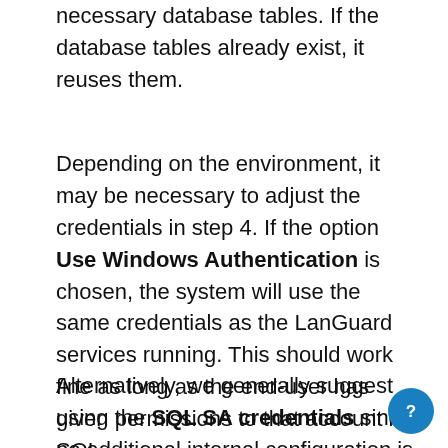necessary database tables. If the database tables already exist, it reuses them.
Depending on the environment, it may be necessary to adjust the credentials in step 4. If the option Use Windows Authentication is chosen, the system will use the same credentials as the LanGuard services running. This should work fine as long as the end-user has given permissions to that account in SQL.
Alternatively, we generally suggest using the SQL SA credentials since no additional internal configuration is required for this to